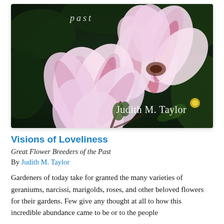[Figure (photo): Close-up photograph of two pink and white magnolia flowers against a dark green leafy background. The word 'past' is written in light italic text in the upper left of the photo, and 'Judith M. Taylor' is written in white serif text in the lower right.]
Visions of Loveliness
Great Flower Breeders of the Past
By Judith M. Taylor
Gardeners of today take for granted the many varieties of geraniums, narcissi, marigolds, roses, and other beloved flowers for their gardens. Few give any thought at all to how this incredible abundance came to be or to the people